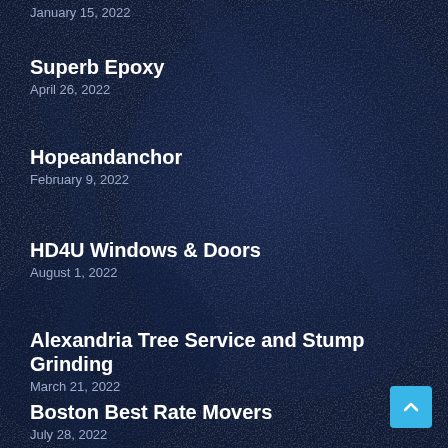January 15, 2022
Superb Epoxy
April 26, 2022
Hopeandanchor
February 9, 2022
HD4U Windows & Doors
August 1, 2022
Alexandria Tree Service and Stump Grinding
March 21, 2022
Boston Best Rate Movers
July 28, 2022